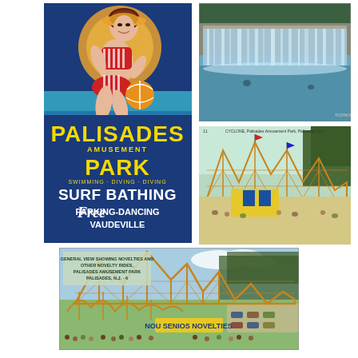[Figure (illustration): Vintage Palisades Amusement Park promotional poster showing a woman in a red and white striped swimsuit sitting with a beach ball, with bold text reading PALISADES AMUSEMENT PARK SURF BATHING Free PARKING-DANCING VAUDEVILLE on a dark blue background]
[Figure (photo): Vintage postcard photo of a large waterfall/water curtain ride at Palisades Amusement Park, with people visible at the base]
[Figure (illustration): Vintage linen postcard illustration of the Cyclone wooden roller coaster at Palisades Amusement Park, Palisades, N.J., with crowds of visitors below]
[Figure (illustration): Vintage linen postcard illustration showing a general view of Palisades Amusement Park roller coasters and other novelty rides from an aerial perspective, with crowds below; caption reads GENERAL VIEW SHOWING NOVELTIES AND OTHER NOVELTY RIDES, PALISADES AMUSEMENT PARK, PALISADES, N.J.]